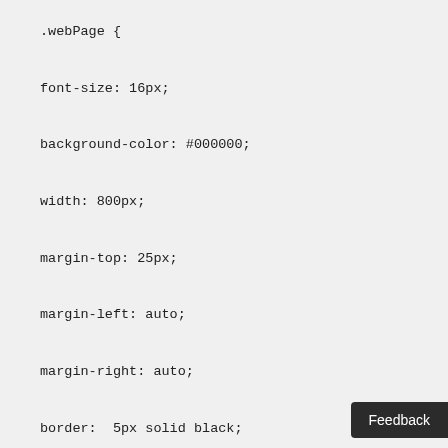.webPage {

font-size: 16px;

background-color: #000000;

width: 800px;

margin-top: 25px;

margin-left: auto;

margin-right: auto;

border:  5px solid black;

border-radius: 25px;
Feedback